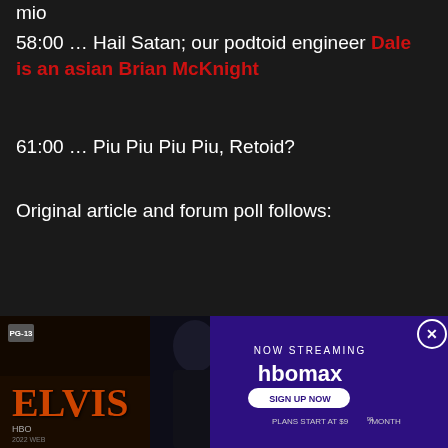mio
58:00 … Hail Satan; our podtoid engineer Dale is an asian Brian McKnight
61:00 … Piu Piu Piu Piu, Retoid?
Original article and forum poll follows:
[Figure (photo): Elvis movie advertisement banner at the bottom of the page. Left side shows a person resembling Elvis in dark clothing against a dark background, with 'ELVIS' text in orange. Right side shows a purple HBO Max 'Now Streaming' advertisement with 'SIGN UP NOW' button and 'PLANS START AT $9.99/MONTH'. A close button (X) is in the top right corner of the ad.]